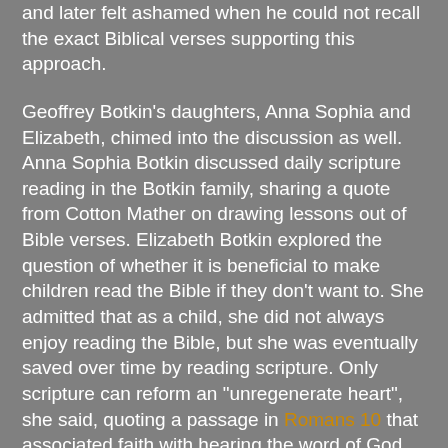and later felt ashamed when he could not recall the exact Biblical verses supporting this approach.
Geoffrey Botkin's daughters, Anna Sophia and Elizabeth, chimed into the discussion as well. Anna Sophia Botkin discussed daily scripture reading in the Botkin family, sharing a quote from Cotton Mather on drawing lessons out of Bible verses. Elizabeth Botkin explored the question of whether it is beneficial to make children read the Bible if they don't want to. She admitted that as a child, she did not always enjoy reading the Bible, but she was eventually saved over time by reading scripture. Only scripture can reform an "unregenerate heart", she said, quoting a passage in Romans 10 that associated faith with hearing the word of God.
Geoffrey Botkin emphasized that parents must teach their children critical thinking, given the importance of discernment in navigating a world steeped in "superstition and falsehood". Christians cannot be carried away by every "wind of doctrine", and thus Christian parents must teach their children to have strong convictions in their faith. Otherwise, a